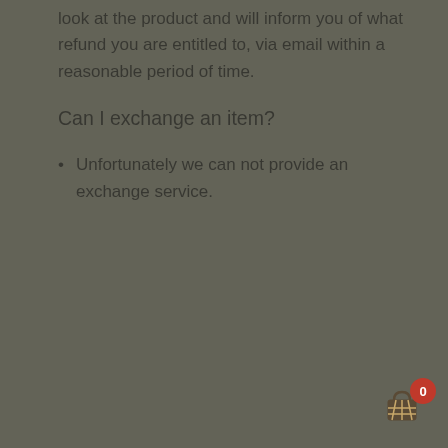look at the product and will inform you of what refund you are entitled to, via email within a reasonable period of time.
Can I exchange an item?
Unfortunately we can not provide an exchange service.
We use cookies on our website to give you the most relevant experience by remembering your preferences and repeat visits. By clicking “ACCEPT ALL”, you consent to the use of ALL the cookies. However, you may visit "Cookie Settings" to provide a controlled consent.
Cookie Settings | ACCEPT ALL